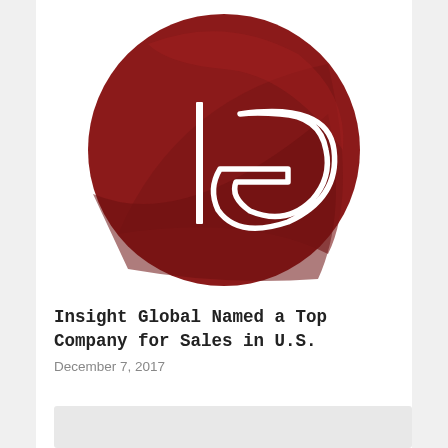[Figure (logo): Insight Global logo: dark red circle with white 'IG' letters, a diagonal swoosh across the circle]
Insight Global Named a Top Company for Sales in U.S.
December 7, 2017